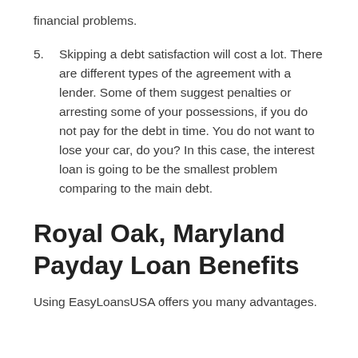financial problems.
5.    Skipping a debt satisfaction will cost a lot. There are different types of the agreement with a lender. Some of them suggest penalties or arresting some of your possessions, if you do not pay for the debt in time. You do not want to lose your car, do you? In this case, the interest loan is going to be the smallest problem comparing to the main debt.
Royal Oak, Maryland Payday Loan Benefits
Using EasyLoansUSA offers you many advantages.
Fast approval. Using our service gives you a guarantee to deposit your money to bank account